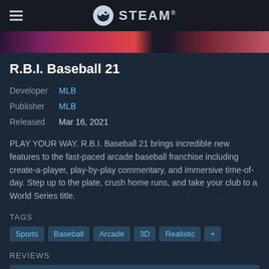STEAM
[Figure (illustration): Colorful banner image strip showing game artwork with pink, red, and dark tones]
R.B.I. Baseball 21
Developer  MLB
Publisher  MLB
Released   Mar 16, 2021
PLAY YOUR WAY. R.B.I. Baseball 21 brings incredible new features to the fast-paced arcade baseball franchise including create-a-player, play-by-play commentary, and immersive time-of-day. Step up to the plate, crush home runs, and take your club to a World Series title.
TAGS
Sports  Baseball  Arcade  3D  Realistic  +
REVIEWS
Mixed (54% of 179) ALL TIME